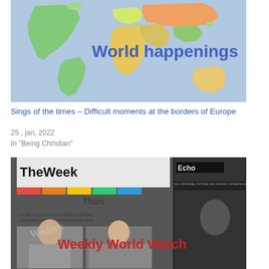[Figure (map): World map with colorful countries and 'World happenings' text overlay in blue]
Sings of the times – Difficult moments at the borders of Europe
25 , jan, 2022
In "Being Christian"
[Figure (photo): Black and white photo of TheWeekly Echo magazine covers with 'Weekly World Watch' red text overlay]